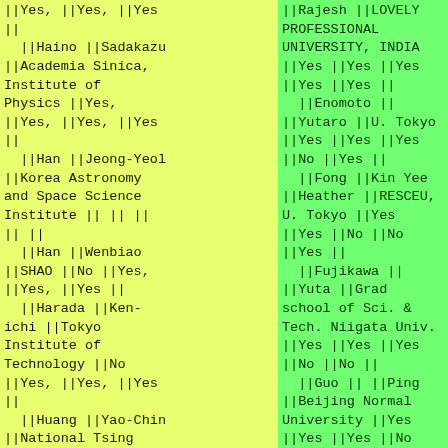||Yes, ||Yes, ||Yes
||
  ||Haino ||Sadakazu
||Academia Sinica, Institute of Physics ||Yes,
||Yes, ||Yes, ||Yes
||
  ||Han ||Jeong-Yeol
||Korea Astronomy and Space Science Institute || || ||
|| ||
  ||Han ||Wenbiao
||SHAO ||No ||Yes,
||Yes, ||Yes ||
  ||Harada ||Ken-ichi ||Tokyo Institute of Technology ||No
||Yes, ||Yes, ||Yes
||
  ||Huang ||Yao-Chin
||National Tsing Hua University, Taiwan ||No ||Yes,
||Rajesh ||LOVELY PROFESSIONAL UNIVERSITY, INDIA
||Yes ||Yes ||Yes
||Yes ||Yes ||
  ||Enomoto ||
||Yutaro ||U. Tokyo
||Yes ||Yes ||Yes
||No ||Yes ||
  ||Fong ||Kin Yee
||Heather ||RESCEU, U. Tokyo ||Yes
||Yes ||No ||No
||Yes ||
  ||Fujikawa ||
||Yuta ||Grad school of Sci. & Tech. Niigata Univ.
||Yes ||Yes ||Yes
||No ||No ||
  ||Guo || ||Ping
||Beijing Normal University ||Yes
||Yes ||Yes ||No
||Yes ||
  ||Haino ||